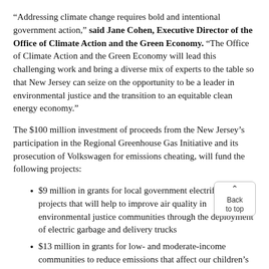“Addressing climate change requires bold and intentional government action,” said Jane Cohen, Executive Director of the Office of Climate Action and the Green Economy. “The Office of Climate Action and the Green Economy will lead this challenging work and bring a diverse mix of experts to the table so that New Jersey can seize on the opportunity to be a leader in environmental justice and the transition to an equitable clean energy economy.”
The $100 million investment of proceeds from the New Jersey’s participation in the Regional Greenhouse Gas Initiative and its prosecution of Volkswagen for emissions cheating, will fund the following projects:
$9 million in grants for local government electrification projects that will help to improve air quality in environmental justice communities through the deployment of electric garbage and delivery trucks
$13 million in grants for low- and moderate-income communities to reduce emissions that affect our children’s air quality through the deployment of el school buses and shuttle buses
$5 million in grants for equitable mobility projects that